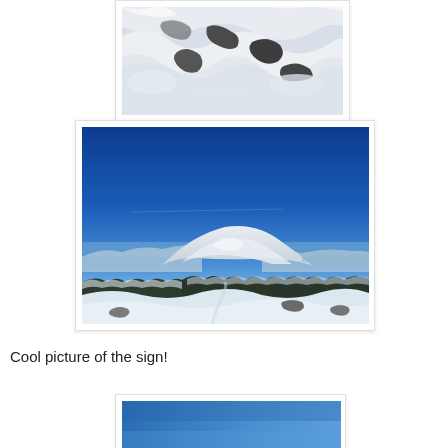[Figure (photo): Close-up aerial or macro photo of snow-covered rocky surface with textured white snow and dark rock patches visible underneath]
[Figure (photo): Landscape photo of a snow-covered mountain summit under a deep blue sky. Foreground shows snow-covered trees and rocks, with a rounded snowy peak in the middle distance and expansive winter mountain views.]
Cool picture of the sign!
[Figure (photo): Partial view of a photo showing a blue sky or blue background, cut off at the bottom of the page.]